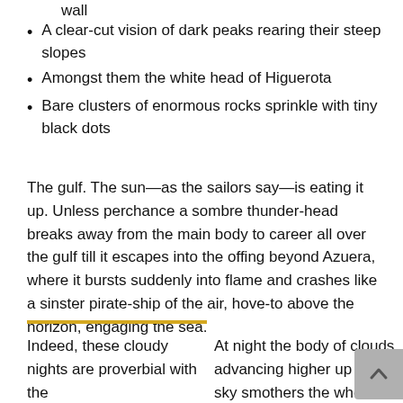wall
A clear-cut vision of dark peaks rearing their steep slopes
Amongst them the white head of Higuerota
Bare clusters of enormous rocks sprinkle with tiny black dots
The gulf. The sun—as the sailors say—is eating it up. Unless perchance a sombre thunder-head breaks away from the main body to career all over the gulf till it escapes into the offing beyond Azuera, where it bursts suddenly into flame and crashes like a sinster pirate-ship of the air, hove-to above the horizon, engaging the sea.
Indeed, these cloudy nights are proverbial with the
At night the body of clouds advancing higher up the sky smothers the whole quiet gulf below with an impenetrable